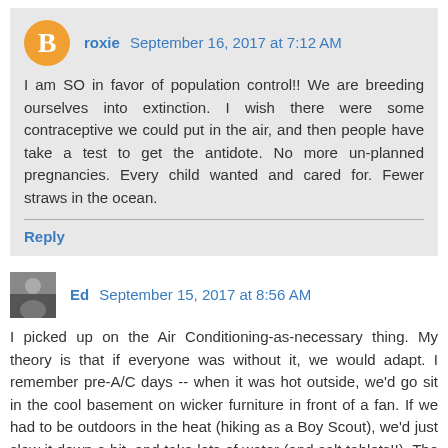roxie  September 16, 2017 at 7:12 AM
I am SO in favor of population control!! We are breeding ourselves into extinction. I wish there were some contraceptive we could put in the air, and then people have take a test to get the antidote. No more un-planned pregnancies. Every child wanted and cared for. Fewer straws in the ocean.
Reply
Ed  September 15, 2017 at 8:56 AM
I picked up on the Air Conditioning-as-necessary thing. My theory is that if everyone was without it, we would adapt. I remember pre-A/C days -- when it was hot outside, we'd go sit in the cool basement on wicker furniture in front of a fan. If we had to be outdoors in the heat (hiking as a Boy Scout), we'd just slow it down a bit, and take lots of water (and salt tablets!!). The problem today is that everyone